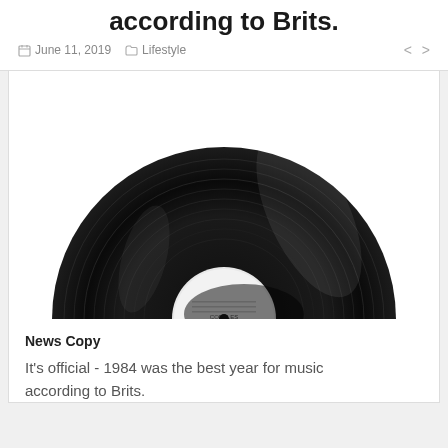according to Brits.
June 11, 2019   Lifestyle
[Figure (photo): A vinyl record shown from above, cut off at the bottom half, with a white label in the center, displayed against a white background.]
News Copy
It's official - 1984 was the best year for music according to Brits.